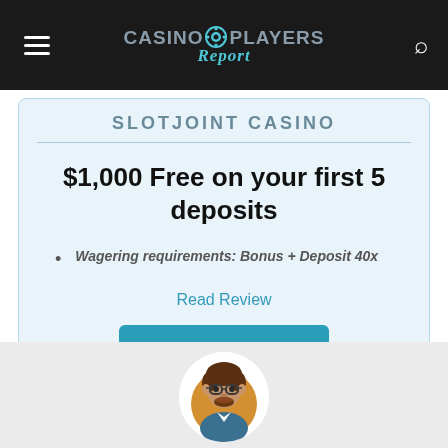[Figure (logo): Casino Players Report logo with chip icon in dark navigation bar]
SLOTJOINT CASINO
$1,000 Free on your first 5 deposits
Wagering requirements: Bonus + Deposit 40x
Read Review
PLAY NOW
[Figure (illustration): Circular avatar illustration of a man with glasses and beard on an orange/yellow background]